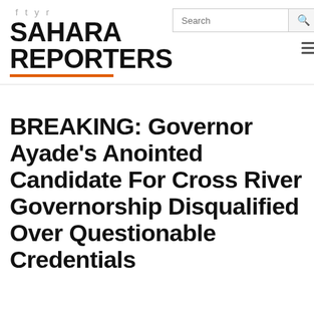SAHARA REPORTERS
BREAKING: Governor Ayade's Anointed Candidate For Cross River Governorship Disqualified Over Questionable Credentials